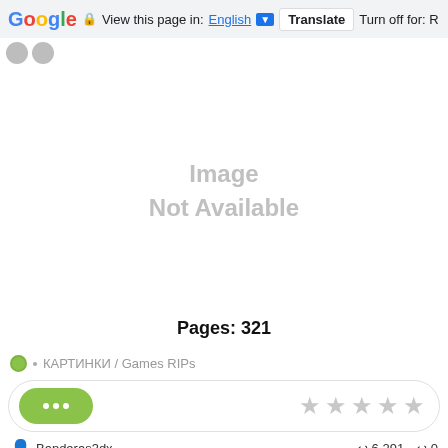Google | View this page in: English [▼] | Translate | Turn off for: R
[Figure (screenshot): Gray circular icons in browser toolbar row]
[Figure (photo): Image Not Available placeholder]
Pages: 321
КАРТИНКИ / Games RIPs
[Figure (screenshot): Action row with green dots button and five gray stars rating]
Banderas3dx   6 291   0